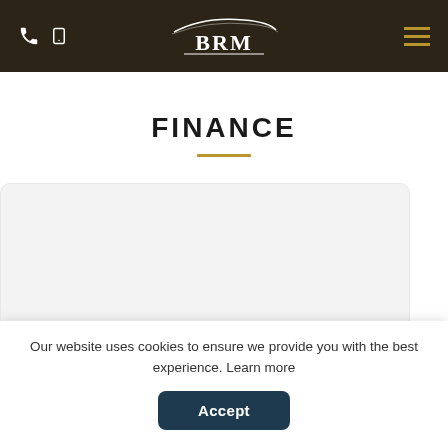BRM
FINANCE
[Figure (other): Empty card/form area with light grey rounded rectangle background]
Our website uses cookies to ensure we provide you with the best experience. Learn more  Accept